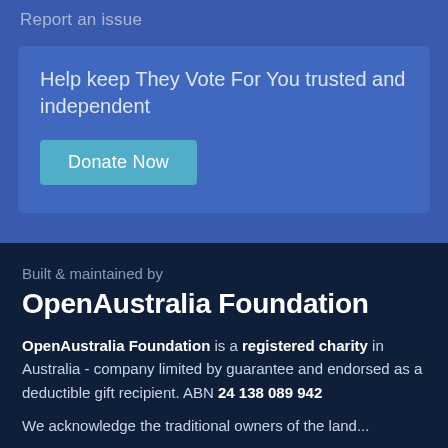Report an issue
Help keep They Vote For You trusted and independent
Donate Now
Built & maintained by
OpenAustralia Foundation
OpenAustralia Foundation is a registered charity in Australia - company limited by guarantee and endorsed as a deductible gift recipient. ABN 24 138 089 942
We acknowledge the traditional owners of the land...